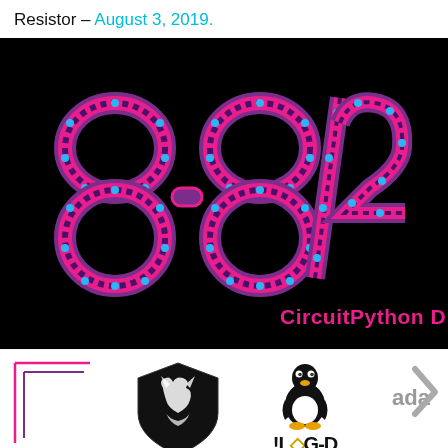Resistor – August 3, 2019.
[Figure (logo): CircuitPython Day 8/8/2019 event logo on black background with stylized numbers made of pink and purple circuit-board-style tracks with cyan dots, followed by 'CircuitPython D' text in pink bold font]
[Figure (logo): Sponsor logos row: Hardware Hackers Club 0x4445 shield logo (black), ILUGD Linux penguin logo with gold diamond, and Adafruit logo (partially visible, gray)]